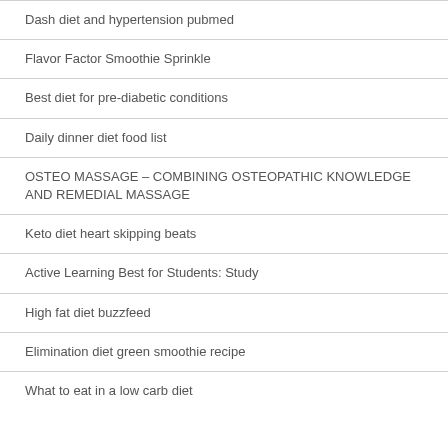Dash diet and hypertension pubmed
Flavor Factor Smoothie Sprinkle
Best diet for pre-diabetic conditions
Daily dinner diet food list
OSTEO MASSAGE – COMBINING OSTEOPATHIC KNOWLEDGE AND REMEDIAL MASSAGE
Keto diet heart skipping beats
Active Learning Best for Students: Study
High fat diet buzzfeed
Elimination diet green smoothie recipe
What to eat in a low carb diet